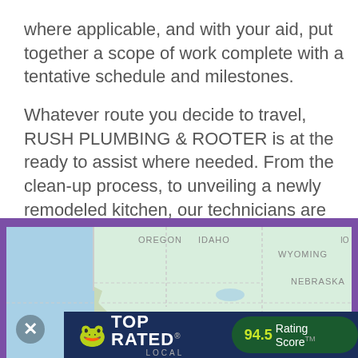where applicable, and with your aid, put together a scope of work complete with a tentative schedule and milestones.
Whatever route you decide to travel, RUSH PLUMBING & ROOTER is at the ready to assist where needed. From the clean-up process, to unveiling a newly remodeled kitchen, our technicians are eager and more importantly, vast wells of information regarding their trade. This is a group of people that love what they do, and it shows in the work we perform.
[Figure (map): Map showing western United States including Oregon, Idaho, Wyoming, Nebraska, with a Top Rated Local badge showing 94.5 Rating Score overlaid at the bottom.]